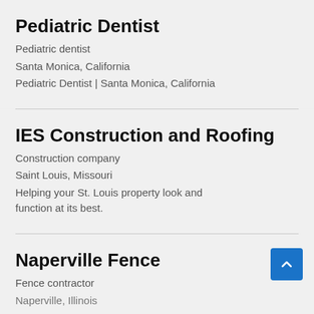Pediatric Dentist
Pediatric dentist
Santa Monica, California
Pediatric Dentist | Santa Monica, California
IES Construction and Roofing
Construction company
Saint Louis, Missouri
Helping your St. Louis property look and function at its best.
Naperville Fence
Fence contractor
Naperville, Illinois